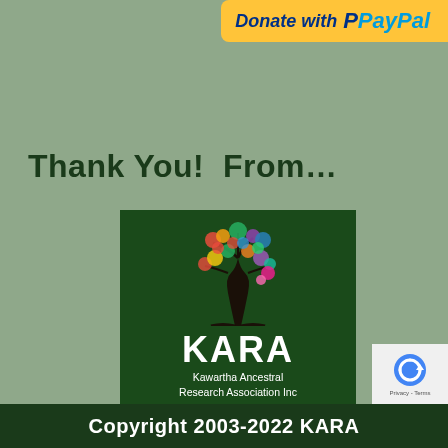[Figure (logo): Donate with PayPal button — yellow rounded button with 'Donate with' text and PayPal logo in blue]
Thank You!  From…
[Figure (logo): KARA logo — dark green square with a colorful tree illustration and text 'KARA Kawartha Ancestral Research Association Inc' in white]
Copyright 2003-2022 KARA
[Figure (other): reCAPTCHA widget — Privacy Terms]